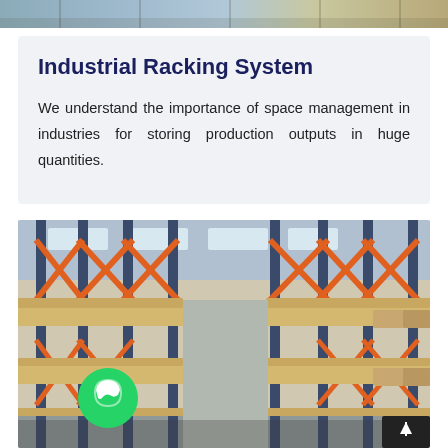[Figure (photo): Partial top strip showing an industrial warehouse racking image]
Industrial Racking System
We understand the importance of space management in industries for storing production outputs in huge quantities.
[Figure (photo): Interior of an industrial warehouse with tall blue vertical columns and orange diagonal cross-bracing racking system, wooden shelves, with a WhatsApp button overlay and a scroll-to-top button in the lower right corner.]